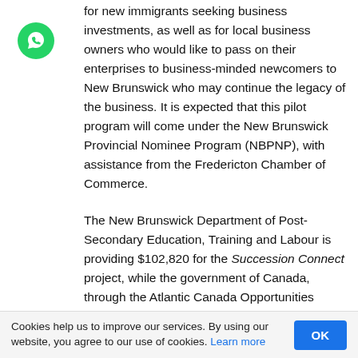for new immigrants seeking business investments, as well as for local business owners who would like to pass on their enterprises to business-minded newcomers to New Brunswick who may continue the legacy of the business. It is expected that this pilot program will come under the New Brunswick Provincial Nominee Program (NBPNP), with assistance from the Fredericton Chamber of Commerce.
The New Brunswick Department of Post-Secondary Education, Training and Labour is providing $102,820 for the Succession Connect project, while the government of Canada, through the Atlantic Canada Opportunities Agency's Business Development Program, is contributing $259,224. The City of Fredericton is providing $78,007, and a number of
Cookies help us to improve our services. By using our website, you agree to our use of cookies. Learn more